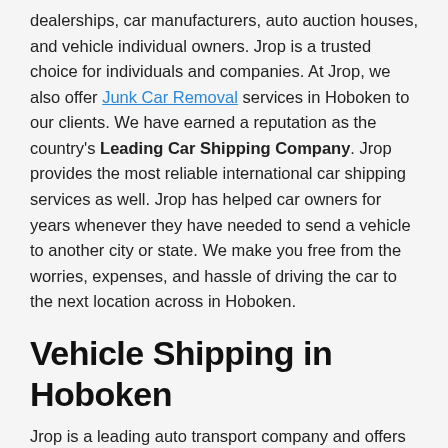dealerships, car manufacturers, auto auction houses, and vehicle individual owners. Jrop is a trusted choice for individuals and companies. At Jrop, we also offer Junk Car Removal services in Hoboken to our clients. We have earned a reputation as the country's Leading Car Shipping Company. Jrop provides the most reliable international car shipping services as well. Jrop has helped car owners for years whenever they have needed to send a vehicle to another city or state. We make you free from the worries, expenses, and hassle of driving the car to the next location across in Hoboken.
Vehicle Shipping in Hoboken
Jrop is a leading auto transport company and offers you Vehicle Shipping in Hoboken to your desired destination in a completely professional way. Whenever you need, our professionals will pick up and deliver your vehicles at your residence, office, or any other place you designate. Jrop also